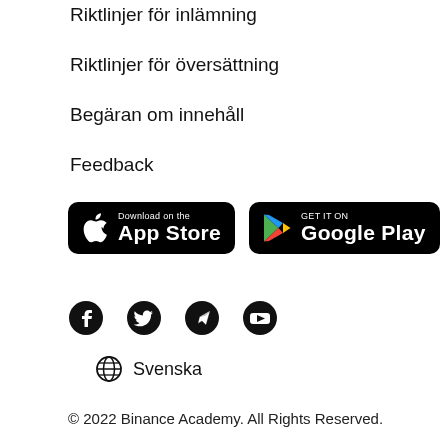Riktlinjer för inlämning
Riktlinjer för översättning
Begäran om innehåll
Feedback
[Figure (other): App Store and Google Play download badges]
[Figure (other): Social media icons: Facebook, Twitter, Telegram, YouTube]
Svenska
© 2022 Binance Academy. All Rights Reserved.